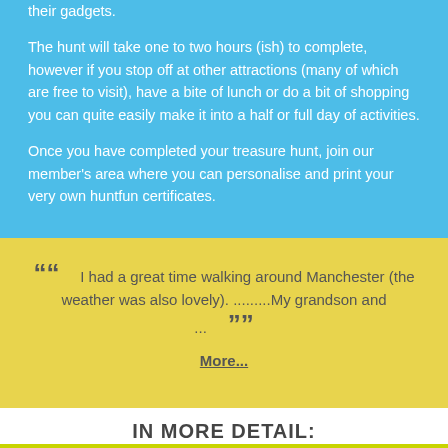their gadgets.
The hunt will take one to two hours (ish) to complete, however if you stop off at other attractions (many of which are free to visit), have a bite of lunch or do a bit of shopping you can quite easily make it into a half or full day of activities.
Once you have completed your treasure hunt, join our member's area where you can personalise and print your very own huntfun certificates.
““ I had a great time walking around Manchester (the weather was also lovely). .........My grandson and ... ””
More...
IN MORE DETAIL: